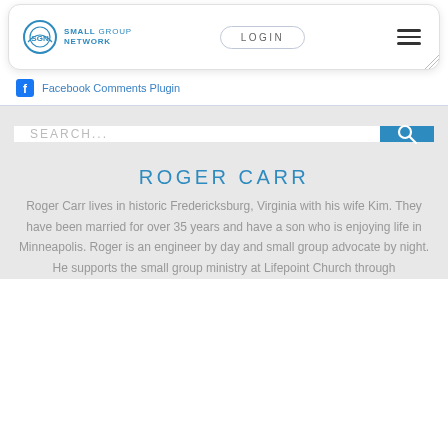[Figure (screenshot): Small Group Network website navigation bar with logo, LOGIN button, and hamburger menu]
Facebook Comments Plugin
[Figure (screenshot): Search bar with blue search button and magnifying glass icon]
ROGER CARR
Roger Carr lives in historic Fredericksburg, Virginia with his wife Kim. They have been married for over 35 years and have a son who is enjoying life in Minneapolis. Roger is an engineer by day and small group advocate by night. He supports the small group ministry at Lifepoint Church through